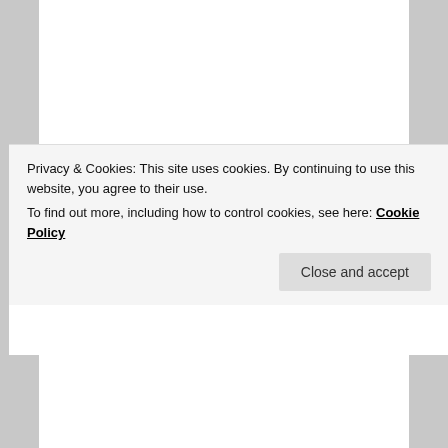Doing Business: Discover More Content That's Right for You
Best Next Read
Posted in Media and the Public | Tagged arctic, atmosphere, canada, canadian press, CFCs, climate change, communication, education, environment, global warming, journalist, manitoba, media, nature, ozone, reporter, science, stratosphere, troposphere, weather, winnipeg free press | 15 Replies
Privacy & Cookies: This site uses cookies. By continuing to use this website, you agree to their use.
To find out more, including how to control cookies, see here: Cookie Policy